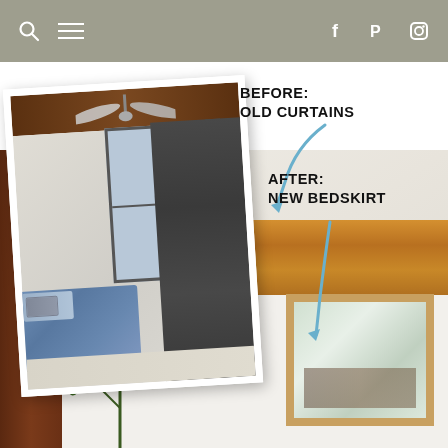Navigation header with search, menu, Facebook, Pinterest, Instagram icons
[Figure (photo): Before and after bedroom comparison. Before photo (left, slightly rotated): bedroom with dark grey curtains, ceiling fan, and blue bedding. After photo (background, right): renovated bedroom with white walls, wooden ceiling, framed mirror, and a plant. Annotations read 'BEFORE: OLD CURTAINS' and 'AFTER: NEW BEDSKIRT' with blue arrows pointing to respective areas.]